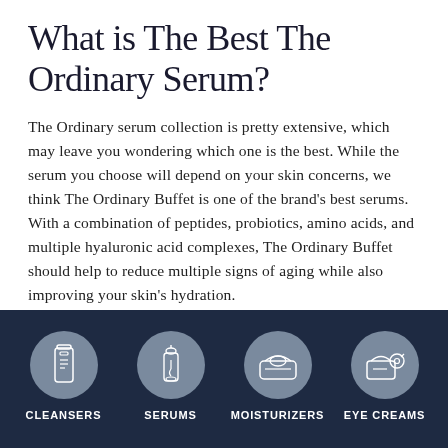What is The Best The Ordinary Serum?
The Ordinary serum collection is pretty extensive, which may leave you wondering which one is the best. While the serum you choose will depend on your skin concerns, we think The Ordinary Buffet is one of the brand's best serums. With a combination of peptides, probiotics, amino acids, and multiple hyaluronic acid complexes, The Ordinary Buffet should help to reduce multiple signs of aging while also improving your skin's hydration.
What is The Best The
[Figure (infographic): Dark navy footer bar with four circular gray icons representing skincare categories: Cleansers (pump bottle), Serums (dropper bottle), Moisturizers (cream jar), Eye Creams (eye cream jar). Labels in white uppercase text below each icon.]